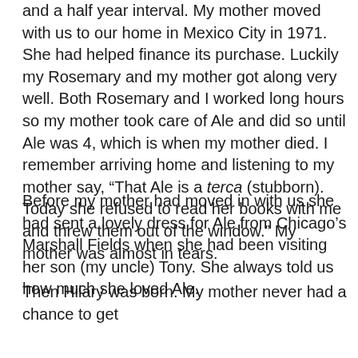and a half year interval. My mother moved with us to our home in Mexico City in 1971. She had helped finance its purchase. Luckily my Rosemary and my mother got along very well. Both Rosemary and I worked long hours so my mother took care of Ale and did so until Ale was 4, which is when my mother died. I remember arriving home and listening to my mother say, “That Ale is a terca (stubborn). Today she refused to read her books with me and threw them out of the window.” My mother was almost in tears.
Before my mother had moved in with us she had sent a lovely dress for Ale from Chicago’s Marshall Fields when she had been visiting her son (my uncle) Tony. She always told us how much she loved Ale.
Then Hilary was born. My mother never had a chance to get to know Hilary as my mother was dead before Hilary was one. When she first gazed on Hilary the only nice thing she could say was, “She has beautiful hands.”
I see this pattern of having a favourite daughter and granddaughter repeating itself. It has to be human nature